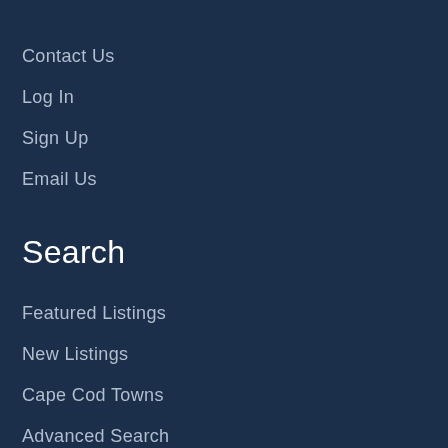Contact Us
Log In
Sign Up
Email Us
Search
Featured Listings
New Listings
Cape Cod Towns
Advanced Search
Services
Buyers